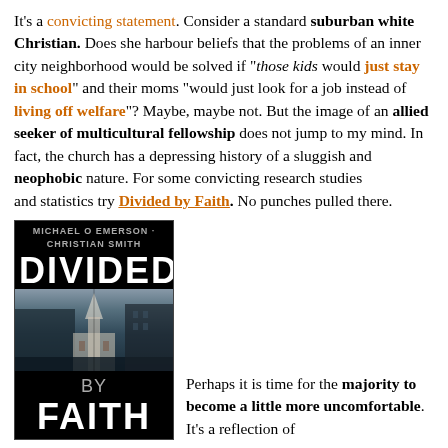It's a convicting statement. Consider a standard suburban white Christian. Does she harbour beliefs that the problems of an inner city neighborhood would be solved if "those kids would just stay in school" and their moms "would just look for a job instead of living off welfare"? Maybe, maybe not. But the image of an allied seeker of multicultural fellowship does not jump to my mind. In fact, the church has a depressing history of a sluggish and neophobic nature. For some convicting research studies and statistics try Divided by Faith. No punches pulled there.
[Figure (photo): Book cover of 'Divided by Faith: Evangelical Religion and the Problem of Race in America' showing a dark cover with the title in large white letters and a black and white photo of a church in the middle.]
Perhaps it is time for the majority to become a little more uncomfortable. It's a reflection of